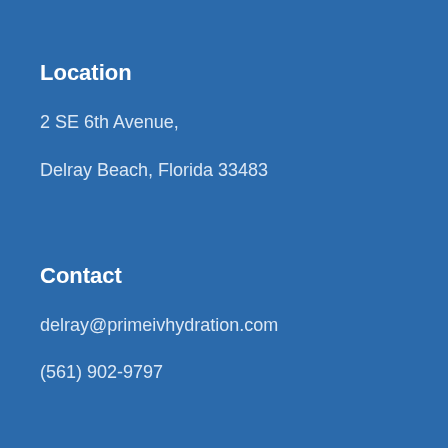Location
2 SE 6th Avenue,
Delray Beach, Florida 33483
Contact
delray@primeivhydration.com
(561) 902-9797